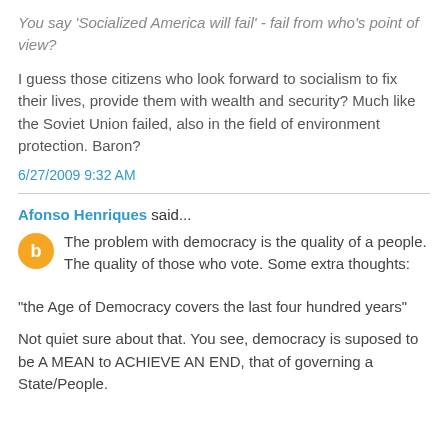You say 'Socialized America will fail' - fail from who's point of view?
I guess those citizens who look forward to socialism to fix their lives, provide them with wealth and security? Much like the Soviet Union failed, also in the field of environment protection. Baron?
6/27/2009 9:32 AM
Afonso Henriques said...
The problem with democracy is the quality of a people. The quality of those who vote. Some extra thoughts:
"the Age of Democracy covers the last four hundred years"
Not quiet sure about that. You see, democracy is suposed to be A MEAN to ACHIEVE AN END, that of governing a State/People.